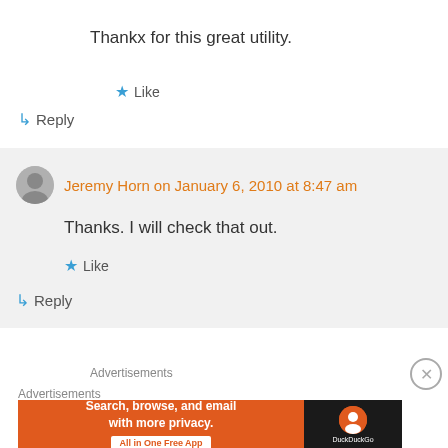Thankx for this great utility.
★ Like
↳ Reply
Jeremy Horn on January 6, 2010 at 8:47 am
Thanks. I will check that out.
★ Like
↳ Reply
Advertisements
Advertisements
[Figure (infographic): DuckDuckGo advertisement banner: orange background with text 'Search, browse, and email with more privacy. All in One Free App' and DuckDuckGo logo on dark right panel]